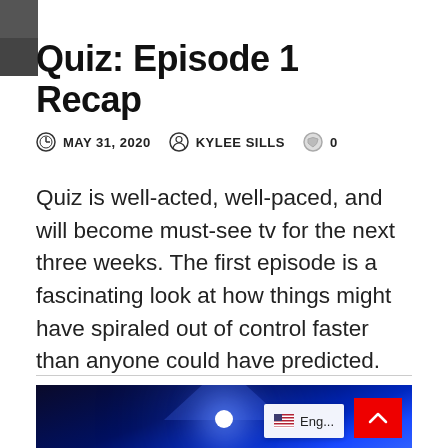Quiz: Episode 1 Recap
MAY 31, 2020   KYLEE SILLS   0
Quiz is well-acted, well-paced, and will become must-see tv for the next three weeks. The first episode is a fascinating look at how things might have spiraled out of control faster than anyone could have predicted.
[Figure (photo): Stage photo with dramatic blue lighting beams against dark background]